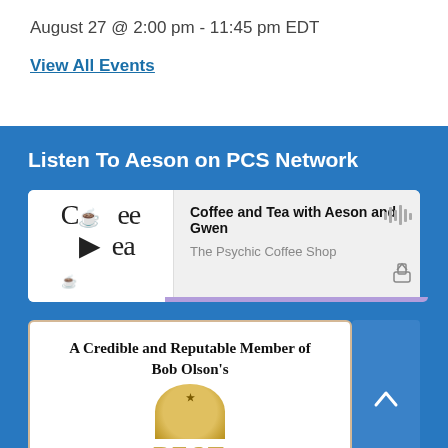August 27 @ 2:00 pm - 11:45 pm EDT
View All Events
Listen To Aeson on PCS Network
[Figure (screenshot): Podcast player card showing 'Coffee and Tea with Aeson and Gwen' with podcast artwork thumbnail with play button, title, subtitle 'The Psychic Coffee Shop', waveform icon, and share icon with purple progress bar at bottom]
[Figure (screenshot): Partially visible card with gold border text 'A Credible and Reputable Member of Bob Olson's BEST...' with coin/medallion image partially visible at bottom, and a blue scroll-to-top button on the right]